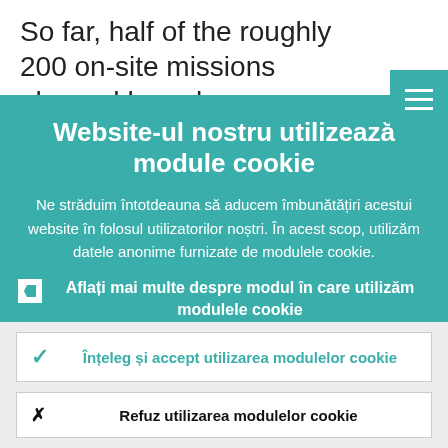So far, half of the roughly 200 on-site missions planned have been successfully
Website-ul nostru utilizează module cookie
Ne străduim întotdeauna să aducem îmbunătățiri acestui website în folosul utilizatorilor noștri. În acest scop, utilizăm datele anonime furnizate de modulele cookie.
Aflați mai multe despre modul în care utilizăm modulele cookie
Înțeleg și accept utilizarea modulelor cookie
Refuz utilizarea modulelor cookie